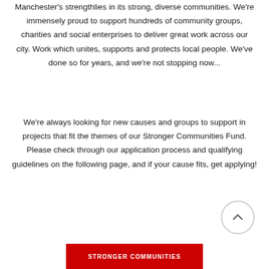Manchester's strengthlies in its strong, diverse communities. We're immensely proud to support hundreds of community groups, charities and social enterprises to deliver great work across our city. Work which unites, supports and protects local people. We've done so for years, and we're not stopping now...
We're always looking for new causes and groups to support in projects that fit the themes of our Stronger Communities Fund. Please check through our application process and qualifying guidelines on the following page, and if your cause fits, get applying!
[Figure (other): Circular scroll-to-top button with upward chevron arrow]
STRONGER COMMUNITIES